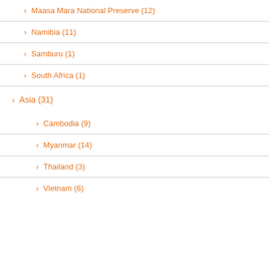> Maasa Mara National Preserve (12)
> Namibia (11)
> Samburu (1)
> South Africa (1)
> Asia (31)
> Cambodia (9)
> Myanmar (14)
> Thailand (3)
> Vietnam (6)